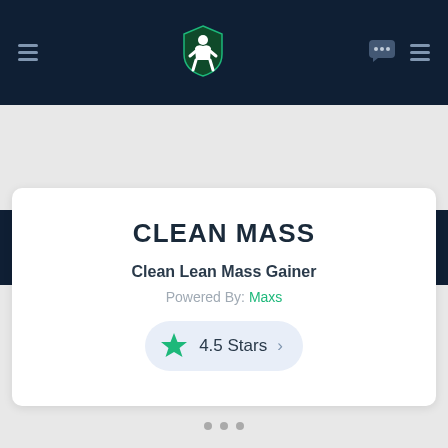[Figure (screenshot): Navigation bar with hamburger menu icons, a muscular figure logo in the center, a chat bubble icon and another menu icon on the right, on a dark navy background]
[Figure (screenshot): Search bar with magnifying glass icon and placeholder text 'Search 1000's of supplements....' on dark navy background]
CLEAN MASS
Clean Lean Mass Gainer
Powered By: Maxs
4.5 Stars